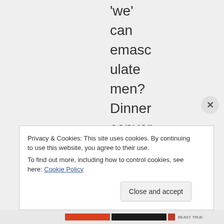'we' can emasculate men? Dinner conversation just got
Privacy & Cookies: This site uses cookies. By continuing to use this website, you agree to their use. To find out more, including how to control cookies, see here: Cookie Policy
Close and accept